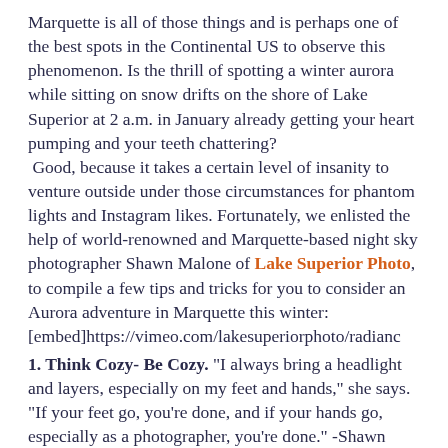Marquette is all of those things and is perhaps one of the best spots in the Continental US to observe this phenomenon. Is the thrill of spotting a winter aurora while sitting on snow drifts on the shore of Lake Superior at 2 a.m. in January already getting your heart pumping and your teeth chattering? Good, because it takes a certain level of insanity to venture outside under those circumstances for phantom lights and Instagram likes. Fortunately, we enlisted the help of world-renowned and Marquette-based night sky photographer Shawn Malone of Lake Superior Photo, to compile a few tips and tricks for you to consider an Aurora adventure in Marquette this winter: [embed]https://vimeo.com/lakesuperiorphoto/radianc
1. Think Cozy- Be Cozy. "I always bring a headlight and layers, especially on my feet and hands," she says. "If your feet go, you're done, and if your hands go, especially as a photographer, you're done." -Shawn Malone There's no doubt that a winter Aurora viewing will, to put it lightly, awaken...